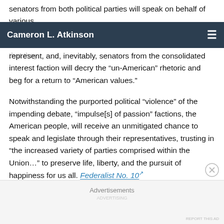senators from both political parties will speak on behalf of various
Cameron L. Atkinson
“impulse[s] of passion” factions. Other senators will rise to rebut them on behalf of the “impulse[s] of passion” factions that they represent, and, inevitably, senators from the consolidated interest faction will decry the “un-American” rhetoric and beg for a return to “American values.”
Notwithstanding the purported political “violence” of the impending debate, “impulse[s] of passion” factions, the American people, will receive an unmitigated chance to speak and legislate through their representatives, trusting in “the increased variety of parties comprised within the Union…” to preserve life, liberty, and the pursuit of happiness for us all. Federalist No. 10
Should this endeavor be successful, we may finally return to a government of the people instead of a government of artificially
Advertisements